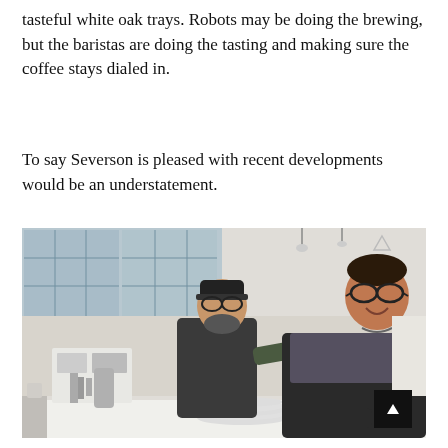tasteful white oak trays. Robots may be doing the brewing, but the baristas are doing the tasting and making sure the coffee stays dialed in.
To say Severson is pleased with recent developments would be an understatement.
[Figure (photo): Two baristas in black aprons standing behind a white counter in a modern coffee shop. The man in the foreground is smiling and wearing glasses. The man in the background has a beard and is wearing a cap. Large industrial windows are visible behind them along with coffee equipment.]